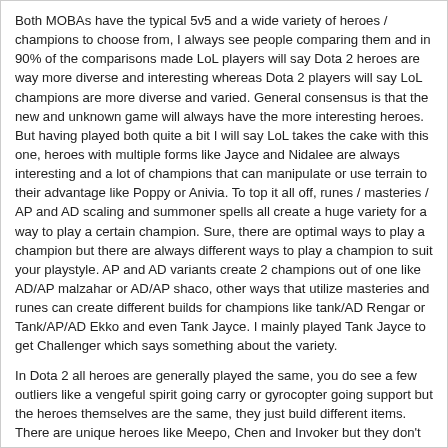Both MOBAs have the typical 5v5 and a wide variety of heroes / champions to choose from, I always see people comparing them and in 90% of the comparisons made LoL players will say Dota 2 heroes are way more diverse and interesting whereas Dota 2 players will say LoL champions are more diverse and varied. General consensus is that the new and unknown game will always have the more interesting heroes. But having played both quite a bit I will say LoL takes the cake with this one, heroes with multiple forms like Jayce and Nidalee are always interesting and a lot of champions that can manipulate or use terrain to their advantage like Poppy or Anivia. To top it all off, runes / masteries / AP and AD scaling and summoner spells all create a huge variety for a way to play a certain champion. Sure, there are optimal ways to play a champion but there are always different ways to play a champion to suit your playstyle. AP and AD variants create 2 champions out of one like AD/AP malzahar or AD/AP shaco, other ways that utilize masteries and runes can create different builds for champions like tank/AD Rengar or Tank/AP/AD Ekko and even Tank Jayce. I mainly played Tank Jayce to get Challenger which says something about the variety.
In Dota 2 all heroes are generally played the same, you do see a few outliers like a vengeful spirit going carry or gyrocopter going support but the heroes themselves are the same, they just build different items. There are unique heroes like Meepo, Chen and Invoker but they don't really raise the bar too high. LoL also releases a champion every few weeks while Dota 2 can take months.
2. Map, Movements and Vision - Dota 2 > LoL
Both Dota 2 and LoL are better in their own ways. LoL has an extra big advantage option (Dragon) along with red and blue buffs which sort of adds a PVE element to it as well. Bushes are there to jump people and make jukes (BIG PLAYS) but the map is small and the trees and environment are two dimensional (meaning a tree has the same effect as a cliff they just look different). You can't really TP in LoL unless you have the summoner spell so rotations rely on you running to other lanes which generally allow the enemy team to capitalize on objectives / kills if they know where you are. Vision is important and with vision you can play around all the bad foreseeable outcomes which makes the game bland and plain boring (IMO), there just isn't